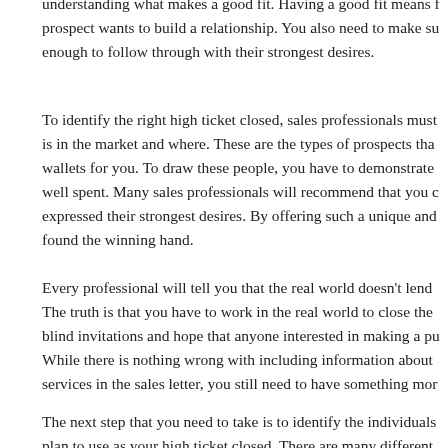understanding what makes a good fit. Having a good fit means finding a prospect wants to build a relationship. You also need to make sure they are motivated enough to follow through with their strongest desires.
To identify the right high ticket closed, sales professionals must know who is in the market and where. These are the types of prospects that will open their wallets for you. To draw these people, you have to demonstrate that the price is well spent. Many sales professionals will recommend that you only target those who expressed their strongest desires. By offering such a unique and valuable product, found the winning hand.
Every professional will tell you that the real world doesn't lend itself easily. The truth is that you have to work in the real world to close the sale. You can't send blind invitations and hope that anyone interested in making a purchase will turn up. While there is nothing wrong with including information about your products and services in the sales letter, you still need to have something more.
The next step that you need to take is to identify the individuals that you plan to use as your high ticket closed. There are many different